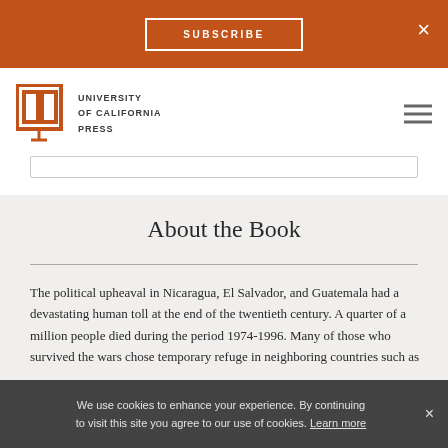[Figure (screenshot): University of California Press website screenshot with subscribe banner, navigation bar with logo, search bar, About the Book section, and cookie consent bar]
SUBSCRIBE  ×
[Figure (logo): University of California Press logo with open book icon and text]
About the Book
The political upheaval in Nicaragua, El Salvador, and Guatemala had a devastating human toll at the end of the twentieth century. A quarter of a million people died during the period 1974-1996. Many of those who survived the wars chose temporary refuge in neighboring countries such as
We use cookies to enhance your experience. By continuing to visit this site you agree to our use of cookies. Learn more  ×